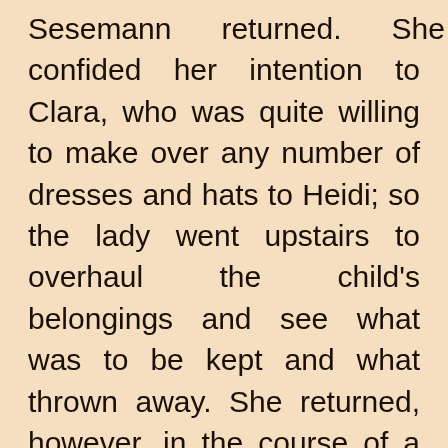Sesemann returned. She confided her intention to Clara, who was quite willing to make over any number of dresses and hats to Heidi; so the lady went upstairs to overhaul the child's belongings and see what was to be kept and what thrown away. She returned, however, in the course of a few minutes with an expression of horror upon her face.